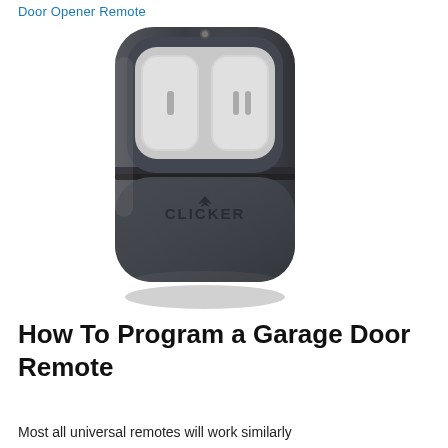Door Opener Remote
[Figure (photo): A CLICKER brand two-button garage door opener remote control, dark gray/black textured body with two large light gray buttons on top, CLICKER logo on lower body, small LED indicator on top edge.]
How To Program a Garage Door Remote
Most all universal remotes will work similarly